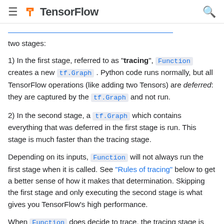≡ TensorFlow 🔍
two stages:
1) In the first stage, referred to as "tracing", Function creates a new tf.Graph . Python code runs normally, but all TensorFlow operations (like adding two Tensors) are deferred: they are captured by the tf.Graph and not run.
2) In the second stage, a tf.Graph which contains everything that was deferred in the first stage is run. This stage is much faster than the tracing stage.
Depending on its inputs, Function will not always run the first stage when it is called. See "Rules of tracing" below to get a better sense of how it makes that determination. Skipping the first stage and only executing the second stage is what gives you TensorFlow's high performance.
When Function does decide to trace, the tracing stage is